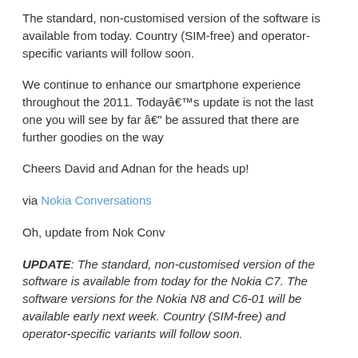The standard, non-customised version of the software is available from today. Country (SIM-free) and operator-specific variants will follow soon.
We continue to enhance our smartphone experience throughout the 2011. Todayâ€™s update is not the last one you will see by far â€“ be assured that there are further goodies on the way
Cheers David and Adnan for the heads up!
via Nokia Conversations
Oh, update from Nok Conv
UPDATE: The standard, non-customised version of the software is available from today for the Nokia C7. The software versions for the Nokia N8 and C6-01 will be available early next week. Country (SIM-free) and operator-specific variants will follow soon.
This website uses cookies to improve your experience. We'll assume you're ok with this, but you can opt-out if you wish.